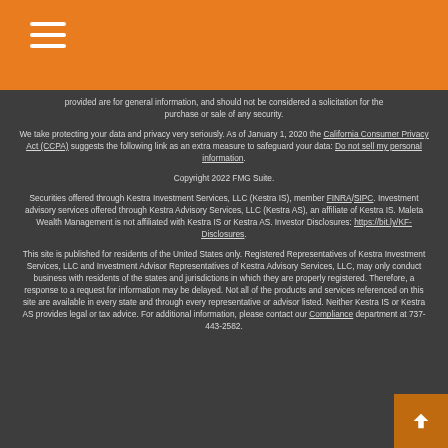Navigation menu (hamburger icon) on orange header bar
provided are for general information, and should not be considered a solicitation for the purchase or sale of any security.
We take protecting your data and privacy very seriously. As of January 1, 2020 the California Consumer Privacy Act (CCPA) suggests the following link as an extra measure to safeguard your data: Do not sell my personal information.
Copyright 2022 FMG Suite.
Securities offered through Kestra Investment Services, LLC (Kestra IS), member FINRA/SIPC. Investment advisory services offered through Kestra Advisory Services, LLC (Kestra AS), an affiliate of Kestra IS. Maleta Wealth Management is not affiliated with Kestra IS or Kestra AS. Investor Disclosures: https://bit.ly/KF-Disclosures.
This site is published for residents of the United States only. Registered Representatives of Kestra Investment Services, LLC and Investment Advisor Representatives of Kestra Advisory Services, LLC, may only conduct business with residents of the states and jurisdictions in which they are properly registered. Therefore, a response to a request for information may be delayed. Not all of the products and services referenced on this site are available in every state and through every representative or advisor listed. Neither Kestra IS or Kestra AS provides legal or tax advice. For additional information, please contact our Compliance department at 737-443-2582.